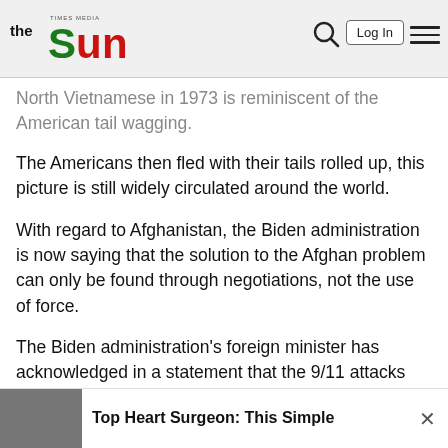the Sun — Log In
North Vietnamese in 1973 is reminiscent of the American tail wagging.
The Americans then fled with their tails rolled up, this picture is still widely circulated around the world.
With regard to Afghanistan, the Biden administration is now saying that the solution to the Afghan problem can only be found through negotiations, not the use of force.
The Biden administration's foreign minister has acknowledged in a statement that the 9/11 attacks were carried out in Afghanistan.
Top Heart Surgeon: This Simple